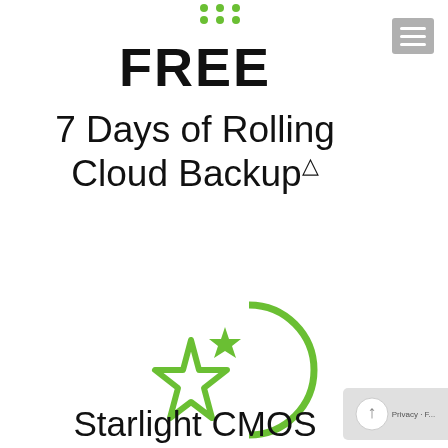[Figure (other): Green dot grid pattern at the top center of the page]
FREE
7 Days of Rolling Cloud Backup△
[Figure (logo): Starlight CMOS logo: green crescent moon with a large green star and a smaller green star inside, forming the company symbol]
Starlight CMOS